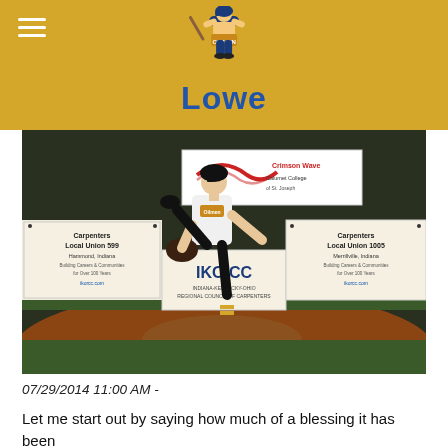Oilmen — Lowe
[Figure (photo): Baseball pitcher mid-throw on a mound at night, wearing white Oilmen uniform with black and gold accents, black cap. Background shows outfield wall with sponsor banners including Carpenters Local Union 599 Hammond Indiana, Carpenters Local Union 1005 Merrillville Indiana, IKORCC, Crimson Wave Calumet College.]
07/29/2014 11:00 AM -
Let me start out by saying how much of a blessing it has been